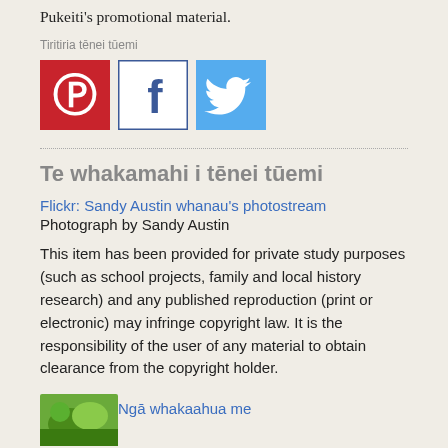Pukeiti's promotional material.
Tiritiria tēnei tūemi
[Figure (other): Three social media share icons: Pinterest (red), Facebook (white/blue), Twitter (blue)]
Te whakamahi i tēnei tūemi
Flickr: Sandy Austin whanau's photostream
Photograph by Sandy Austin
This item has been provided for private study purposes (such as school projects, family and local history research) and any published reproduction (print or electronic) may infringe copyright law. It is the responsibility of the user of any material to obtain clearance from the copyright holder.
Ngā whakaahua me